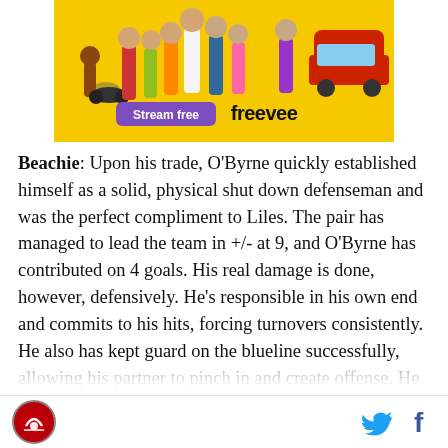[Figure (photo): Amazon Freevee advertisement banner with colorful characters on yellow background, showing 'Stream free' button and 'freevee' logo]
Beachie: Upon his trade, O'Byrne quickly established himself as a solid, physical shut down defenseman and was the perfect compliment to Liles. The pair has managed to lead the team in +/- at 9, and O'Byrne has contributed on 4 goals. His real damage is done, however, defensively. He's responsible in his own end and commits to his hits, forcing turnovers consistently. He also has kept guard on the blueline successfully, allowing his partner to pinch in and create offense. He
site logo | Twitter icon | Facebook icon